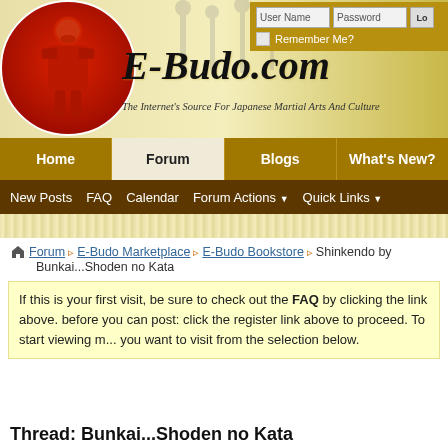[Figure (screenshot): E-Budo.com website header banner with red circle logo showing a samurai figure, martial arts silhouettes in background, site title E-Budo.com in italic script, subtitle 'The Internet's Source For Japanese Martial Arts And Culture', and login fields in top right corner]
Home | Forum | Blogs | What's New?
New Posts | FAQ | Calendar | Forum Actions | Quick Links
Forum » E-Budo Marketplace » E-Budo Bookstore » Shinkendo by Bunkai...Shoden no Kata
If this is your first visit, be sure to check out the FAQ by clicking the link above. before you can post: click the register link above to proceed. To start viewing m... you want to visit from the selection below.
Thread: Bunkai...Shoden no Kata